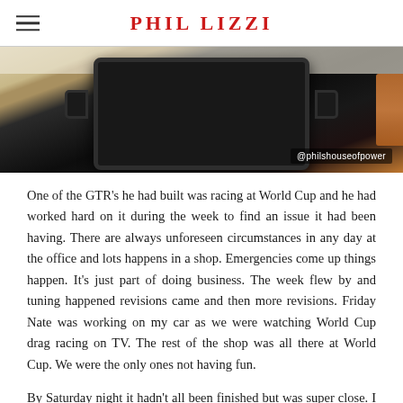PHIL LIZZI
[Figure (photo): Top-down photo of a black cast iron pan on a light speckled surface with some orange/rust colored items visible at the edge. Watermark reads @philshouseofpower.]
One of the GTR's he had built was racing at World Cup and he had worked hard on it during the week to find an issue it had been having. There are always unforeseen circumstances in any day at the office and lots happens in a shop. Emergencies come up things happen. It's just part of doing business. The week flew by and tuning happened revisions came and then more revisions. Friday Nate was working on my car as we were watching World Cup drag racing on TV. The rest of the shop was all there at World Cup. We were the only ones not having fun.
By Saturday night it hadn't all been finished but was super close. I needed to leave by Sunday morning in order to drive the 3 days